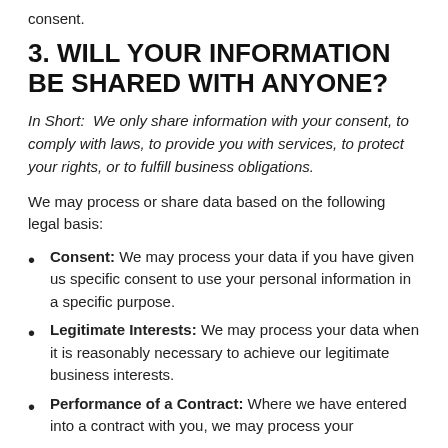consent.
3. WILL YOUR INFORMATION BE SHARED WITH ANYONE?
In Short:  We only share information with your consent, to comply with laws, to provide you with services, to protect your rights, or to fulfill business obligations.
We may process or share data based on the following legal basis:
Consent: We may process your data if you have given us specific consent to use your personal information in a specific purpose.
Legitimate Interests: We may process your data when it is reasonably necessary to achieve our legitimate business interests.
Performance of a Contract: Where we have entered into a contract with you, we may process your